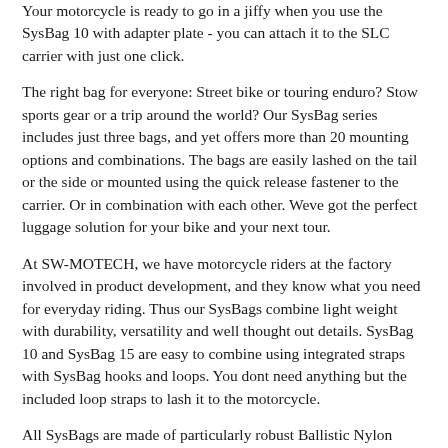Your motorcycle is ready to go in a jiffy when you use the SysBag 10 with adapter plate - you can attach it to the SLC carrier with just one click.
The right bag for everyone: Street bike or touring enduro? Stow sports gear or a trip around the world? Our SysBag series includes just three bags, and yet offers more than 20 mounting options and combinations. The bags are easily lashed on the tail or the side or mounted using the quick release fastener to the carrier. Or in combination with each other. Weve got the perfect luggage solution for your bike and your next tour.
At SW-MOTECH, we have motorcycle riders at the factory involved in product development, and they know what you need for everyday riding. Thus our SysBags combine light weight with durability, versatility and well thought out details. SysBag 10 and SysBag 15 are easy to combine using integrated straps with SysBag hooks and loops. You dont need anything but the included loop straps to lash it to the motorcycle.
All SysBags are made of particularly robust Ballistic Nylon material tested by the military, have a roll closure and an overlapping lid. Weather protection is also provided by a double PU interior coating and a removable, waterproof inner bag, which are connected to the roll closure using Velcro(R). Reflective details ensure more safety in traffic. After the tour, our SysBags can be easily carried by the